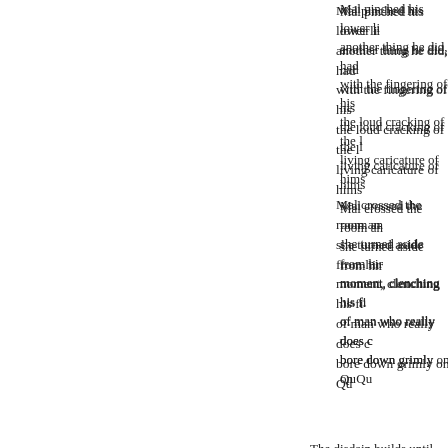Mal pinched his lower li another thing he did, had with the fingering of his the loud cracking of the l living caricature of hims
Mal crossed the room an she turned aside from hir moment, clenching his fi of man who really does c bore down grimly on Qu
The disdain builds until reaching at just the moment he's been ask to Mal on another's behalf. He as pleasant surroundings might sub
Quirke chose an expensiv show of swirling a splash frowning in approval to t away, controlling his imp glass of the wine, saying "Fine," Quirke snapped. elderly waiter in his shin unctuous solemnity of am Quirke had ordered salm asked for chicken soup,